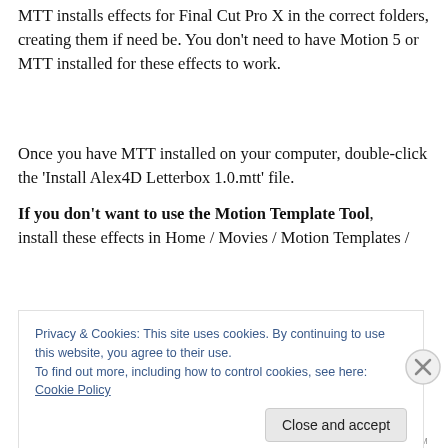MTT installs effects for Final Cut Pro X in the correct folders, creating them if need be. You don't need to have Motion 5 or MTT installed for these effects to work.
Once you have MTT installed on your computer, double-click the 'Install Alex4D Letterbox 1.0.mtt' file.
If you don't want to use the Motion Template Tool,
install these effects in Home / Movies / Motion Templates /
Privacy & Cookies: This site uses cookies. By continuing to use this website, you agree to their use.
To find out more, including how to control cookies, see here: Cookie Policy
Close and accept